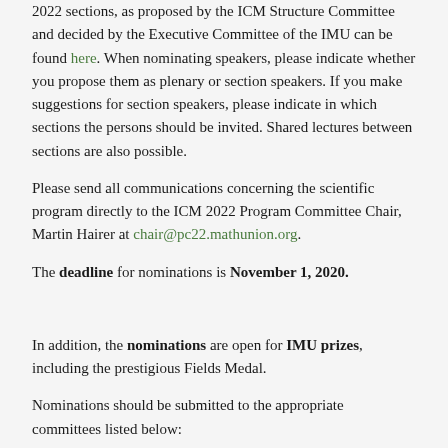2022 sections, as proposed by the ICM Structure Committee and decided by the Executive Committee of the IMU can be found here. When nominating speakers, please indicate whether you propose them as plenary or section speakers. If you make suggestions for section speakers, please indicate in which sections the persons should be invited. Shared lectures between sections are also possible.
Please send all communications concerning the scientific program directly to the ICM 2022 Program Committee Chair, Martin Hairer at chair@pc22.mathunion.org.
The deadline for nominations is November 1, 2020.
In addition, the nominations are open for IMU prizes, including the prestigious Fields Medal.
Nominations should be submitted to the appropriate committees listed below:
the Fields Medals – Chair: IMU President Carlos E.